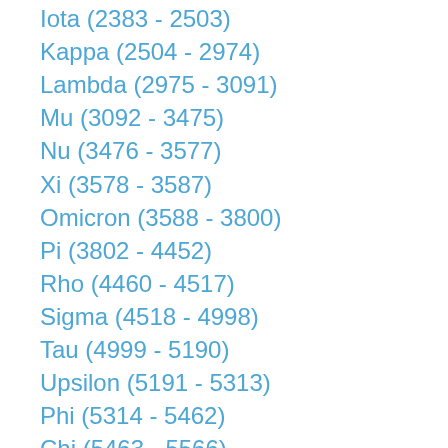Iota (2383 - 2503)
Kappa (2504 - 2974)
Lambda (2975 - 3091)
Mu (3092 - 3475)
Nu (3476 - 3577)
Xi (3578 - 3587)
Omicron (3588 - 3800)
Pi (3802 - 4452)
Rho (4460 - 4517)
Sigma (4518 - 4998)
Tau (4999 - 5190)
Upsilon (5191 - 5313)
Phi (5314 - 5462)
Chi (5463 - 5566)
Psi (5567 - 5597)
Omega (5598 - 5624)